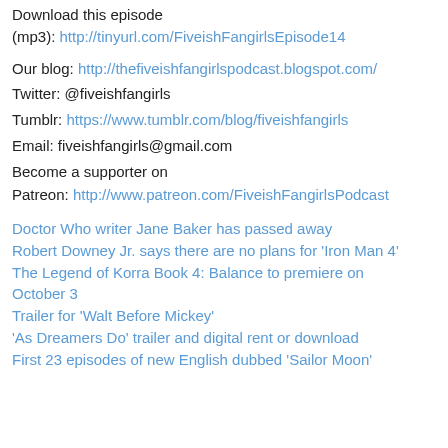Download this episode (mp3): http://tinyurl.com/FiveishFangirlsEpisode14
Our blog: http://thefiveishfangirlspodcast.blogspot.com/
Twitter: @fiveishfangirls
Tumblr: https://www.tumblr.com/blog/fiveishfangirls
Email: fiveishfangirls@gmail.com
Become a supporter on
Patreon: http://www.patreon.com/FiveishFangirlsPodcast
Doctor Who writer Jane Baker has passed away
Robert Downey Jr. says there are no plans for 'Iron Man 4'
The Legend of Korra Book 4: Balance to premiere on October 3
Trailer for 'Walt Before Mickey'
'As Dreamers Do' trailer and digital rent or download
First 23 episodes of new English dubbed 'Sailor Moon'